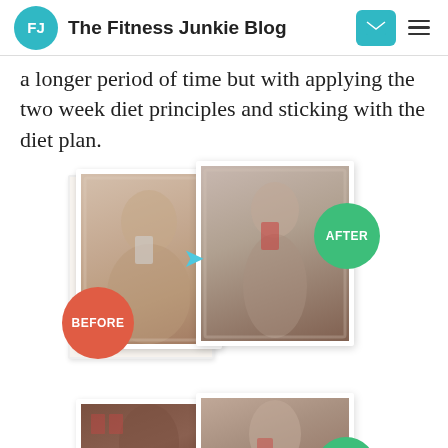FJ The Fitness Junkie Blog
a longer period of time but with applying the two week diet principles and sticking with the diet plan.
[Figure (photo): Before and after weight loss comparison photos: left photo shows a woman taking a selfie in a mirror labeled BEFORE (red badge), right photo shows the same woman after weight loss labeled AFTER (green badge), with a teal arrow pointing from before to after.]
[Figure (photo): Second before and after weight loss comparison photos (partially visible at bottom of page): left shows a woman in a store, right shows a slimmer woman with green AFTER badge.]